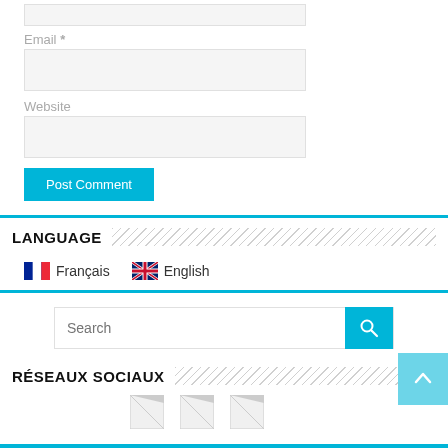Email *
Website
Post Comment
LANGUAGE
Français  English
[Figure (screenshot): Search bar with cyan search button and magnifying glass icon]
RÉSEAUX SOCIAUX
[Figure (illustration): Social media icons row (partially visible)]
[Figure (illustration): Back to top button (cyan, with up arrow)]